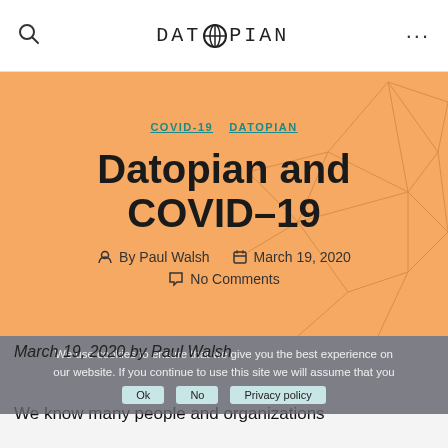DATOPIAN
[Figure (screenshot): Hero banner with orange background, geometric line art, category tags COVID-19 and DATOPIAN, article title Datopian and COVID-19, byline By Paul Walsh, date March 19 2020, No Comments]
We use cookies to ensure that we give you the best experience on our website. If you continue to use this site we will assume that you
March 19, 2020 by Paul Walsh
We know many people and organizations